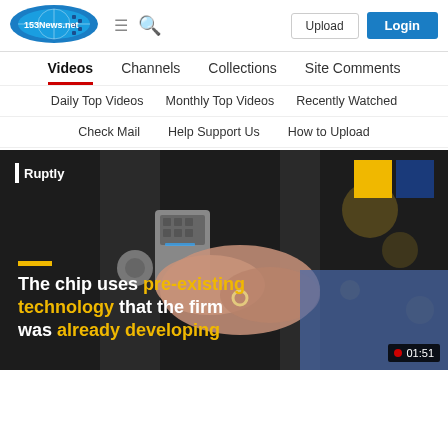[Figure (logo): 153News.net logo — oval shape with blue/cyan color, globe/globe icon]
Videos  Channels  Collections  Site Comments
Daily Top Videos  Monthly Top Videos  Recently Watched
Check Mail  Help Support Us  How to Upload
[Figure (screenshot): Video thumbnail showing a hand touching a smart door lock. Text overlay reads: 'The chip uses pre-existing technology that the firm was already developing'. Ruptly branding visible. Duration badge shows 01:51.]